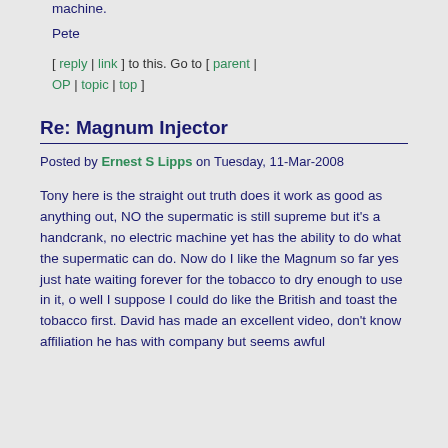machine.
Pete
[ reply | link ] to this. Go to [ parent | OP | topic | top ]
Re: Magnum Injector
Posted by Ernest S Lipps on Tuesday, 11-Mar-2008
Tony here is the straight out truth does it work as good as anything out, NO the supermatic is still supreme but it's a handcrank, no electric machine yet has the ability to do what the supermatic can do. Now do I like the Magnum so far yes just hate waiting forever for the tobacco to dry enough to use in it, o well I suppose I could do like the British and toast the tobacco first. David has made an excellent video, don't know affiliation he has with company but seems awful